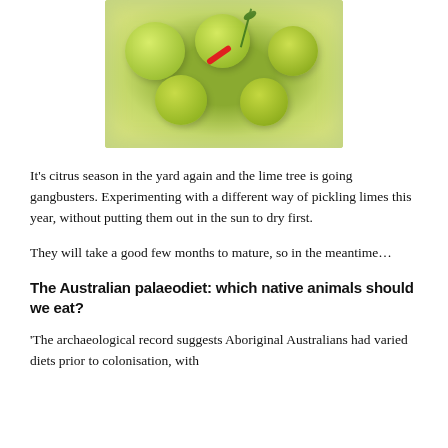[Figure (photo): Top-down view of a glass jar filled with green limes, red chili, and green herb sprigs, pickling in brine.]
It's citrus season in the yard again and the lime tree is going gangbusters. Experimenting with a different way of pickling limes this year, without putting them out in the sun to dry first.
They will take a good few months to mature, so in the meantime…
The Australian palaeodiet: which native animals should we eat?
'The archaeological record suggests Aboriginal Australians had varied diets prior to colonisation, with